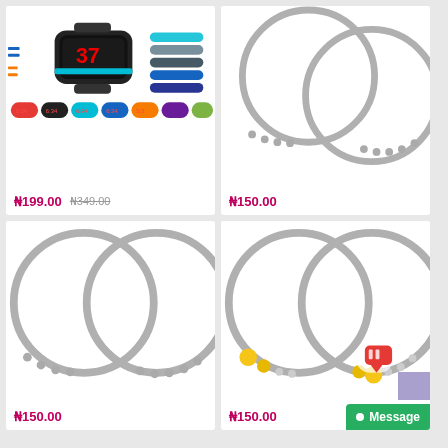[Figure (photo): LED digital watch displayed on a wrist plus multiple colorful silicone band watches in various colors]
₦199.00  ₦349.00
[Figure (photo): Two silver metal bangles with small ball embellishments]
₦150.00
[Figure (photo): Two silver metal bangles with small ball embellishments, larger view]
₦150.00
[Figure (photo): Two silver metal bangles with yellow gemstone and crystal embellishments, with chat icon overlay]
₦150.00